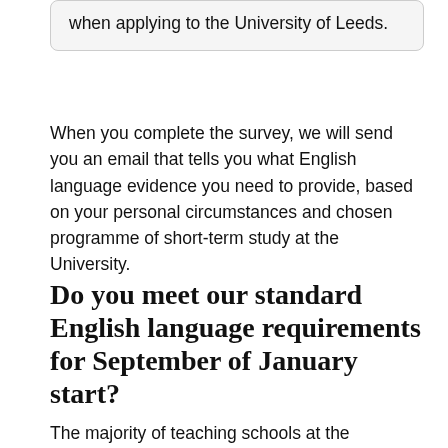when applying to the University of Leeds.
When you complete the survey, we will send you an email that tells you what English language evidence you need to provide, based on your personal circumstances and chosen programme of short-term study at the University.
Do you meet our standard English language requirements for September of January start?
The majority of teaching schools at the University of Leeds and